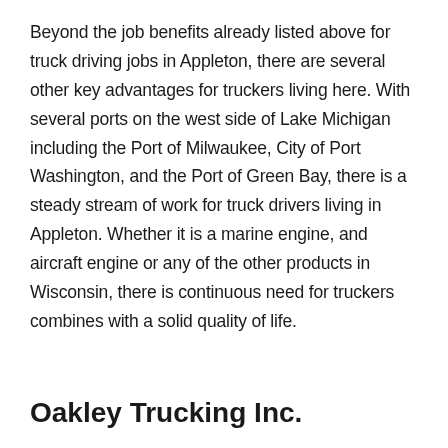Beyond the job benefits already listed above for truck driving jobs in Appleton, there are several other key advantages for truckers living here. With several ports on the west side of Lake Michigan including the Port of Milwaukee, City of Port Washington, and the Port of Green Bay, there is a steady stream of work for truck drivers living in Appleton. Whether it is a marine engine, and aircraft engine or any of the other products in Wisconsin, there is continuous need for truckers combines with a solid quality of life.
Oakley Trucking Inc.